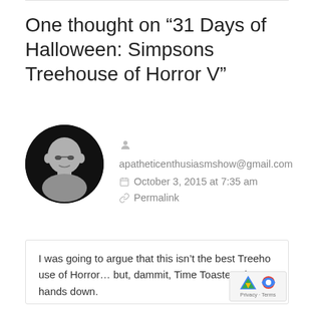One thought on “31 Days of Halloween: Simpsons Treehouse of Horror V”
[Figure (illustration): Circular avatar image of a bald person silhouette with dark background]
apatheticenthusiasmshow@gmail.com
October 3, 2015 at 7:35 am
Permalink
I was going to argue that this isn’t the best Treehouse of Horror… but, dammit, Time Toaster wins hands down.